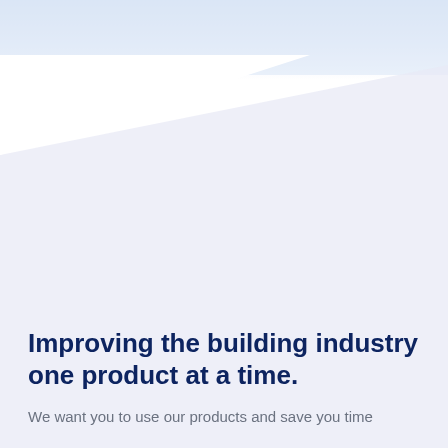[Figure (illustration): Decorative geometric background with a light blue-grey diagonal parallelogram shape and a pale blue top banner area]
Improving the building industry one product at a time.
We want you to use our products and save you time